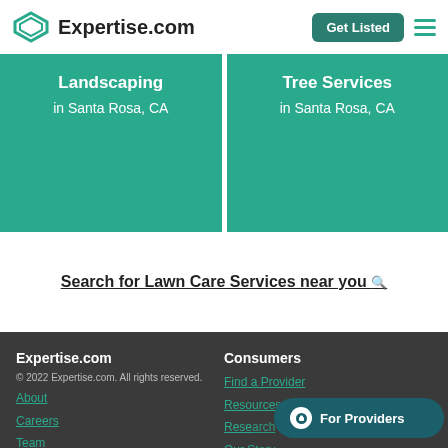Expertise.com | Get Listed
[Figure (screenshot): Two teal category cards: 'Landscaping in Santa Rosa, CA' and 'Tree Services in Santa Rosa, CA']
Search for Lawn Care Services near you →
Expertise.com
© 2022 Expertise.com. All rights reserved.
About
Careers
Team
Terms of Use
Consumers
Find a Provider
Resources
Rese...
Our S...
Nominate a Provider
For Providers